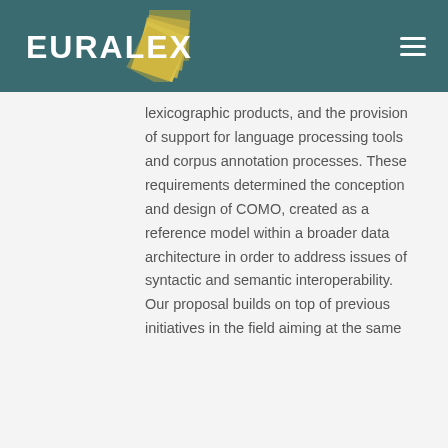[Figure (logo): EURALEX logo with gold folded pages graphic and white text on teal header background]
lexicographic products, and the provision of support for language processing tools and corpus annotation processes. These requirements determined the conception and design of COMO, created as a reference model within a broader data architecture in order to address issues of syntactic and semantic interoperability. Our proposal builds on top of previous initiatives in the field aiming at the same